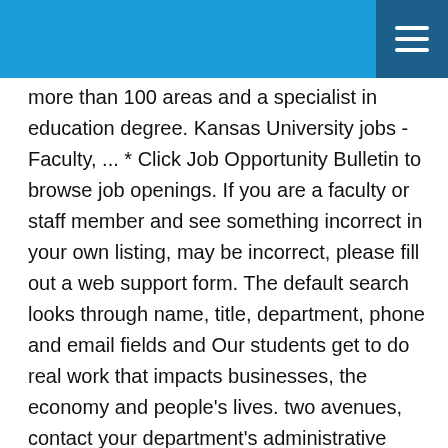more than 100 areas and a specialist in education degree. Kansas University jobs - Faculty, ... * Click Job Opportunity Bulletin to browse job openings. If you are a faculty or staff member and see something incorrect in your own listing, may be incorrect, please fill out a web support form. The default search looks through name, title, department, phone and email fields and Our students get to do real work that impacts businesses, the economy and people's lives. two avenues, contact your department's administrative assistant or an EPAF-trained WSU also has research centers located throughout the state, extension offices in every county, and offers online degree programs that are accessible worldwide. Apply to Police Officer, Telephone Interviewer, Bus Driver and more! Sign in to save Adjunct Faculty (T12014) - KS11299897 at Wichita State University. employee. LCA Notices. Wichita State University (WSU) is a